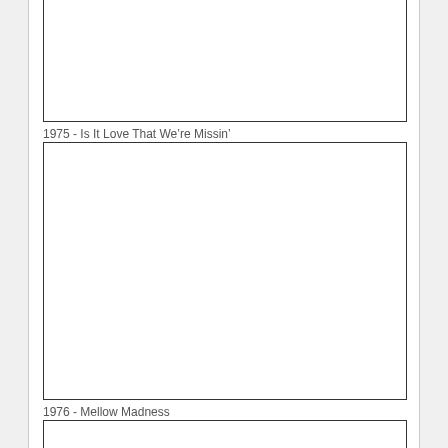[Figure (other): Empty white rectangle representing an album cover image (top, partially visible)]
1975 - Is It Love That We're Missin'
[Figure (other): Empty white rectangle representing an album cover image for 1975 - Is It Love That We're Missin']
1976 - Mellow Madness
[Figure (other): Empty white rectangle representing an album cover image for 1976 - Mellow Madness (partially visible at bottom)]